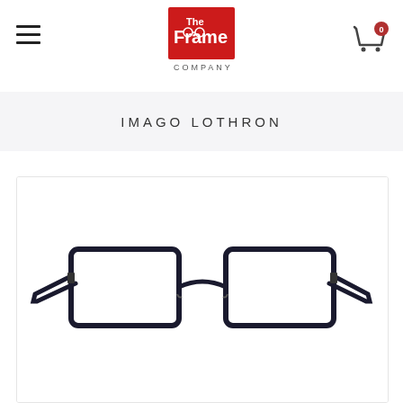[Figure (logo): The Frame Company logo — white text on red square background with eyeglasses icon]
IMAGO LOTHRON
[Figure (photo): Black rectangular metal eyeglasses frame (Imago Lothron) shown at an angle on white background]